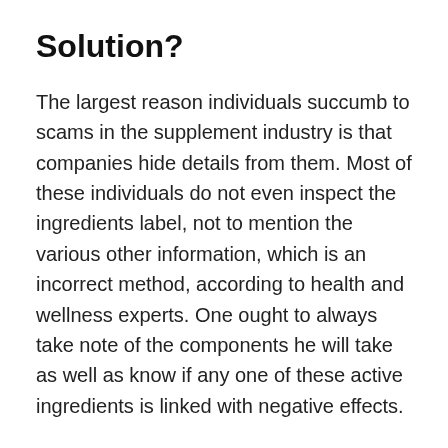Solution?
The largest reason individuals succumb to scams in the supplement industry is that companies hide details from them. Most of these individuals do not even inspect the ingredients label, not to mention the various other information, which is an incorrect method, according to health and wellness experts. One ought to always take note of the components he will take as well as know if any one of these active ingredients is linked with negative effects.
Every active ingredient added to the LeanBiome formula is selected after undergoing the research data revealing its advantages. Making use of the